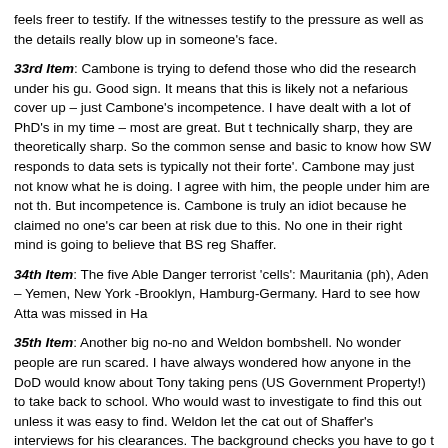feels freer to testify. If the witnesses testify to the pressure as well as the details really blow up in someone's face.
33rd Item: Cambone is trying to defend those who did the research under his gu. Good sign. It means that this is likely not a nefarious cover up – just Cambone's incompetence. I have dealt with a lot of PhD's in my time – most are great. But t technically sharp, they are theoretically sharp. So the common sense and basic to know how SW responds to data sets is typically not their forte'. Cambone may just not know what he is doing. I agree with him, the people under him are not th. But incompetence is. Cambone is truly an idiot because he claimed no one's car been at risk due to this. No one in their right mind is going to believe that BS reg Shaffer.
34th Item: The five Able Danger terrorist 'cells': Mauritania (ph), Aden – Yemen, New York -Brooklyn, Hamburg-Germany. Hard to see how Atta was missed in Ha
35th Item: Another big no-no and Weldon bombshell. No wonder people are run scared. I have always wondered how anyone in the DoD would know about Tony taking pens (US Government Property!) to take back to school. Who would wast to investigate to find this out unless it was easy to find. Weldon let the cat out of Shaffer's interviews for his clearances. The background checks you have to go t clearances are quite extensive. Interestingly enough it is best to admit all your yo digressions because the intent is to determine if someone can blackmail you ove